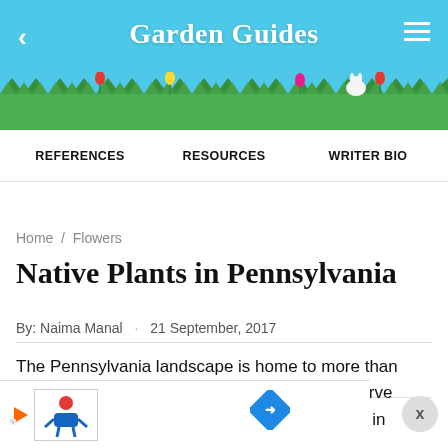Garden Guides
[Figure (illustration): Garden Guides app header banner with blue sky background, decorative grass and flowers illustration at bottom, back arrow on left, hamburger menu on right, 'Garden Guides' title in white bold serif font in center]
REFERENCES   RESOURCES   WRITER BIO
Garden Guides (watermark)
Home / Flowers
Native Plants in Pennsylvania
By: Naima Manal · 21 September, 2017
The Pennsylvania landscape is home to more than 2,000 native plant species. The efforts to preserve Pennsylvania's flora will have long-term effects in preventing environmental changes and supporting native